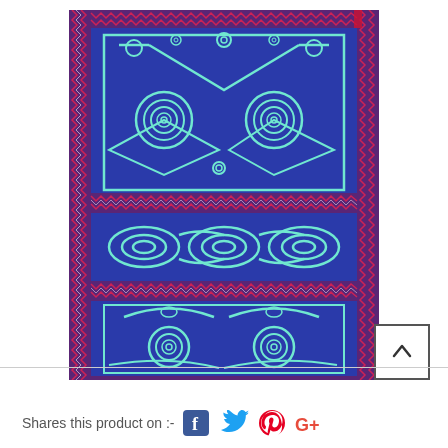[Figure (photo): A handcrafted embroidered fabric piece with deep blue/indigo background and turquoise/mint green stitching in spiral, swirl, and geometric patterns organized in three panels, with colorful zigzag border edges in red, purple, and white.]
Shares this product on :- [Facebook] [Twitter] [Pinterest] [Google+]